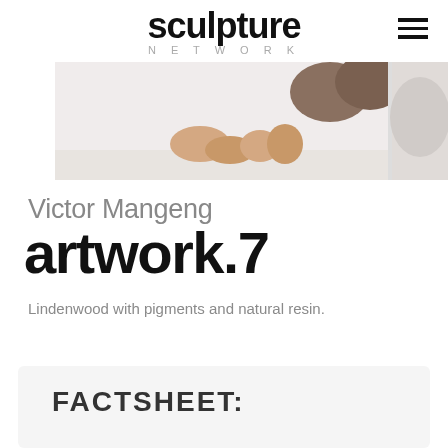sculpture NETWORK
[Figure (photo): Cropped photo of a sculpture or figurative artwork lying on a white surface, showing feet/legs; a second partial image appears on the right edge.]
Victor Mangeng
artwork.7
Lindenwood with pigments and natural resin.
FACTSHEET: